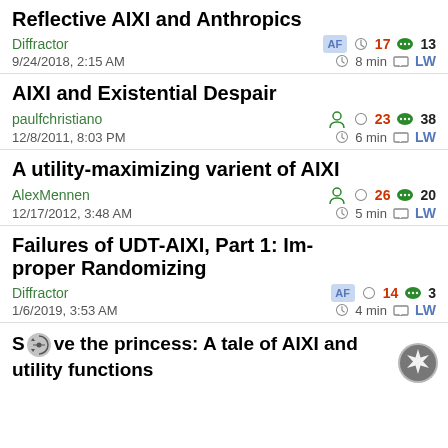Reflective AIXI and Anthropics
Diffractor   AF  17  13
9/24/2018, 2:15 AM   8 min  LW
AIXI and Existential Despair
paulfchristiano   23  38
12/8/2011, 8:03 PM   6 min  LW
A utility-maximizing varient of AIXI
AlexMennen   26  20
12/17/2012, 3:48 AM   5 min  LW
Failures of UDT-AIXI, Part 1: Improper Randomizing
Diffractor   AF  14  3
1/6/2019, 3:53 AM   4 min  LW
Save the princess: A tale of AIXI and utility functions